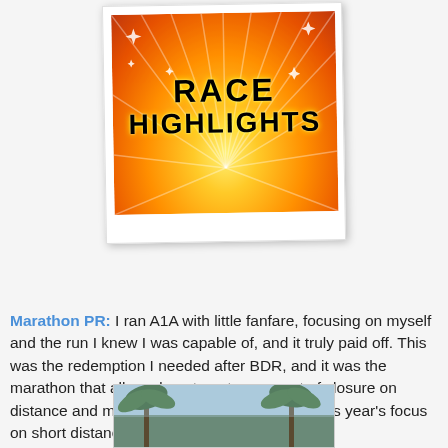[Figure (photo): Polaroid-style photo with gold starburst background and text reading RACE HIGHLIGHTS in bold black outlined letters]
Marathon PR: I ran A1A with little fanfare, focusing on myself and the run I knew I was capable of, and it truly paid off. This was the redemption I needed after BDR, and it was the marathon that allowed me to get some sort of closure on distance and move comfortably forward with this year's focus on short distances.
[Figure (photo): Partial photo showing palm trees against a sky, bottom of page]